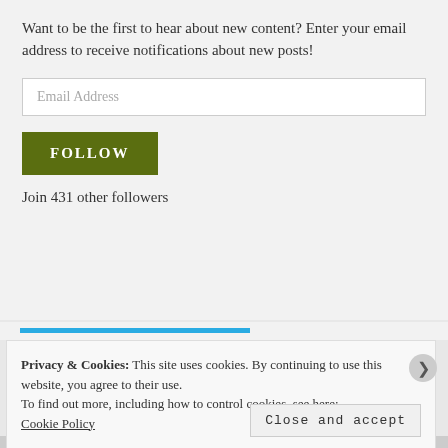Want to be the first to hear about new content? Enter your email address to receive notifications about new posts!
Email Address
FOLLOW
Join 431 other followers
Privacy & Cookies: This site uses cookies. By continuing to use this website, you agree to their use.
To find out more, including how to control cookies, see here:
Cookie Policy
Close and accept